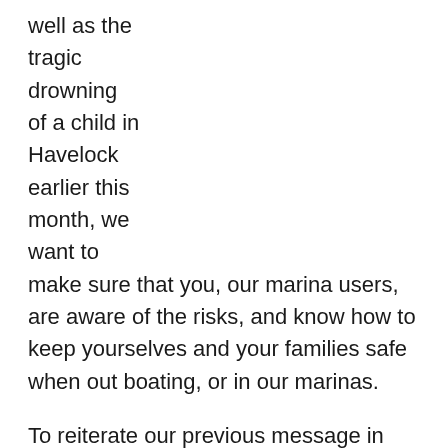well as the tragic drowning of a child in Havelock earlier this month, we want to make sure that you, our marina users, are aware of the risks, and know how to keep yourselves and your families safe when out boating, or in our marinas.
To reiterate our previous message in the last Marina Matters newsletter, each of our marinas has lifesaving equipment including life rings, boarding ladders, first aid kits and defibrillators. Ensure that you are familiar